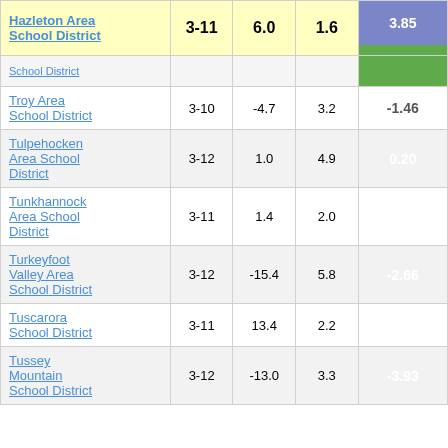| School District | Grades | Col3 | Col4 | Score |
| --- | --- | --- | --- | --- |
| Hazleton Area School District | 3-11 | 6.0 | 1.6 | 3.85 |
| (partial row) |  |  |  |  |
| Troy Area School District | 3-10 | -4.7 | 3.2 | -1.46 |
| Tulpehocken Area School District | 3-12 | 1.0 | 4.9 | 0.20 |
| Tunkhannock Area School District | 3-11 | 1.4 | 2.0 | 0.71 |
| Turkeyfoot Valley Area School District | 3-12 | -15.4 | 5.8 | -2.66 |
| Tuscarora School District | 3-11 | 13.4 | 2.2 | 6.20 |
| Tussey Mountain School District | 3-12 | -13.0 | 3.3 | -3.93 |